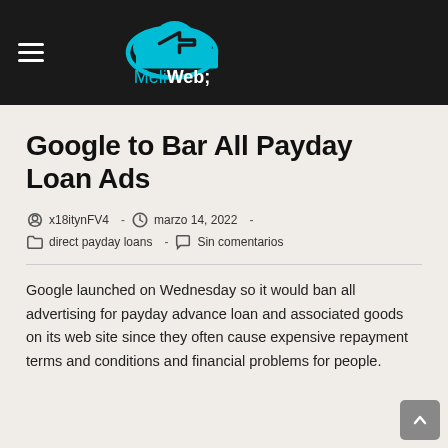MeliWeb;
Google to Bar All Payday Loan Ads
x18itynFV4  -  marzo 14, 2022  -  direct payday loans  -  Sin comentarios
Google launched on Wednesday so it would ban all advertising for payday advance loan and associated goods on its web site since they often cause expensive repayment terms and conditions and financial problems for people.